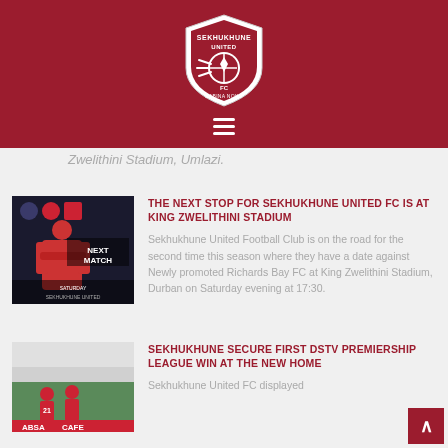[Figure (logo): Sekhukhune United FC shield logo with football icon, white on dark red background]
Zwelithini Stadium, Umlazi.
[Figure (photo): Next Match promotional image showing a player with arms crossed and NEXT MATCH text overlay]
THE NEXT STOP FOR SEKHUKHUNE UNITED FC IS AT KING ZWELITHINI STADIUM
Sekhukhune United Football Club is on the road for the second time this season where they have a date against Newly promoted Richards Bay FC at King Zwelithini Stadium, Durban on Saturday evening at 17:30.
[Figure (photo): Football match photo showing players on field with ABSA CAFE advertising board visible, player wearing number 21]
SEKHUKHUNE SECURE FIRST DSTV PREMIERSHIP LEAGUE WIN AT THE NEW HOME
Sekhukhune United FC displayed